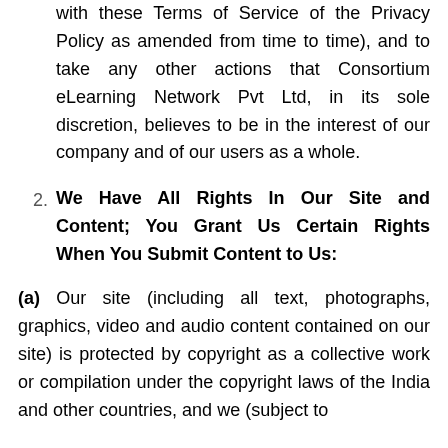with these Terms of Service of the Privacy Policy as amended from time to time), and to take any other actions that Consortium eLearning Network Pvt Ltd, in its sole discretion, believes to be in the interest of our company and of our users as a whole.
2. We Have All Rights In Our Site and Content; You Grant Us Certain Rights When You Submit Content to Us:
(a) Our site (including all text, photographs, graphics, video and audio content contained on our site) is protected by copyright as a collective work or compilation under the copyright laws of the India and other countries, and we (subject to